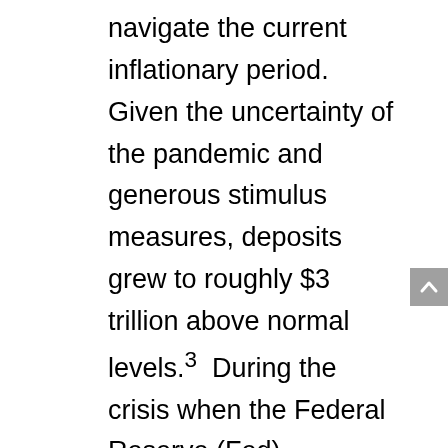navigate the current inflationary period. Given the uncertainty of the pandemic and generous stimulus measures, deposits grew to roughly $3 trillion above normal levels.³ During the crisis when the Federal Reserve (Fed) aggressively cut rates and individuals were highly risk averse, the cost of holding checkable deposits was low so individuals tended to increase savings, thereby adding to bank deposits. Aggregate savings were also bolstered by higher income households who normally spend a larger percentage of discretionary income on services – like